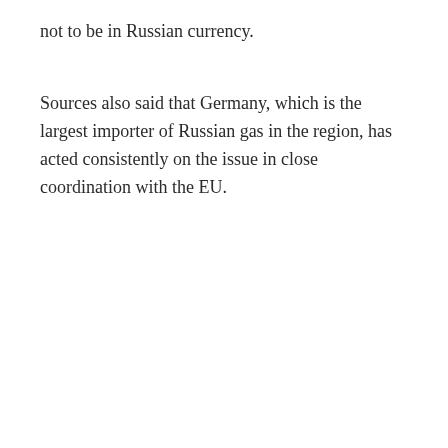not to be in Russian currency.
Sources also said that Germany, which is the largest importer of Russian gas in the region, has acted consistently on the issue in close coordination with the EU.